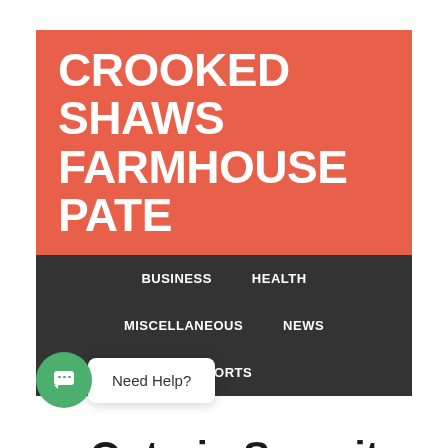CROOKED SHAWS FARMHOUSE PATE
BUSINESS  HEALTH  MISCELLANEOUS  NEWS  SPORTS
Ontario Security Guard Training
JULY 19, 2022 BY SEBASTIAN